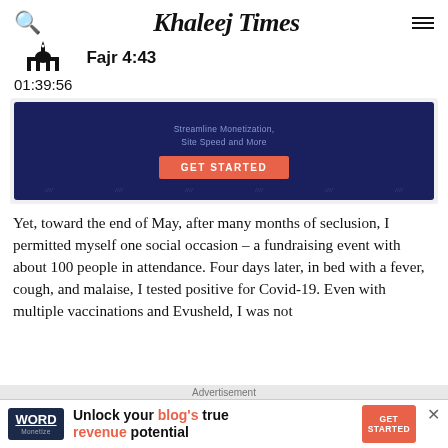Khaleej Times
Fajr 4:43
01:39:56
[Figure (screenshot): Dark navy blue advertisement banner with text 'Streamline Monetization, Site Speed and More' and an orange 'GET STARTED' button]
Yet, toward the end of May, after many months of seclusion, I permitted myself one social occasion – a fundraising event with about 100 people in attendance. Four days later, in bed with a fever, cough, and malaise, I tested positive for Covid-19. Even with multiple vaccinations and Evusheld, I was not
Advertisement
[Figure (screenshot): Bottom advertisement banner: Word Monetize logo, text 'Unlock your blog's true revenue potential', orange GET STARTED button, and close X button]